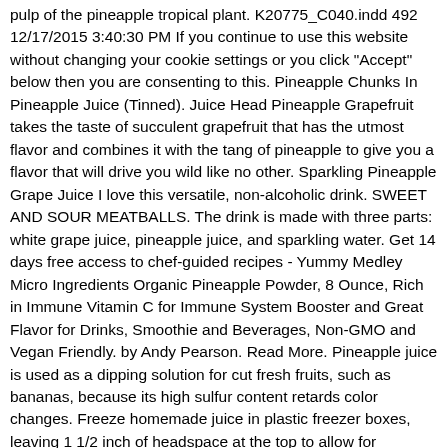pulp of the pineapple tropical plant. K20775_C040.indd 492 12/17/2015 3:40:30 PM If you continue to use this website without changing your cookie settings or you click "Accept" below then you are consenting to this. Pineapple Chunks In Pineapple Juice (Tinned). Juice Head Pineapple Grapefruit takes the taste of succulent grapefruit that has the utmost flavor and combines it with the tang of pineapple to give you a flavor that will drive you wild like no other. Sparkling Pineapple Grape Juice I love this versatile, non-alcoholic drink. SWEET AND SOUR MEATBALLS. The drink is made with three parts: white grape juice, pineapple juice, and sparkling water. Get 14 days free access to chef-guided recipes - Yummy Medley Micro Ingredients Organic Pineapple Powder, 8 Ounce, Rich in Immune Vitamin C for Immune System Booster and Great Flavor for Drinks, Smoothie and Beverages, Non-GMO and Vegan Friendly. by Andy Pearson. Read More. Pineapple juice is used as a dipping solution for cut fresh fruits, such as bananas, because its high sulfur content retards color changes. Freeze homemade juice in plastic freezer boxes, leaving 1 1/2 inch of headspace at the top to allow for expansion. Babu et al. filtered water, high fructose corn syrup, orange juice from concentrate (filtered water, orange juice concentrate), pineapple juice from concentrate (filtered water, pineapple juice concentrate), citric acid (for tartness), natural flavor, sodium citrate, ascorbic acid (vitamin c), pectin, gum acacia, ester gum, sucralose, beta carotene (for color), yellow 5 Easy to make with no juicer required! Per saperne di più sui tuoi diritti e